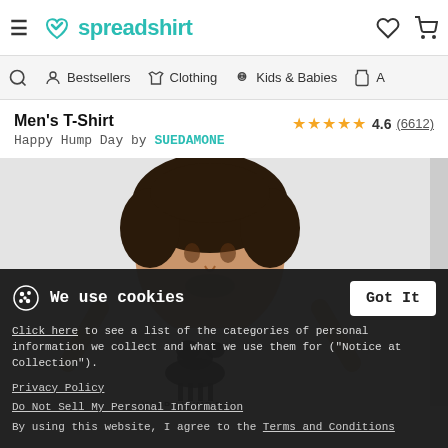spreadshirt — Men's T-Shirt, Happy Hump Day by SUEDAMONE, 4.6 (6612)
[Figure (screenshot): Spreadshirt website header with hamburger menu, teal heart-logo and 'spreadshirt' text, wishlist heart icon, and cart icon]
[Figure (screenshot): Secondary navigation bar with search icon, Bestsellers, Clothing, Kids & Babies, Accessories tabs]
Men's T-Shirt
Happy Hump Day by SUEDAMONE
4.6 (6612)
[Figure (photo): Product photo: man wearing white t-shirt with Happy Hump Day camel graphic]
We use cookies
Click here to see a list of the categories of personal information we collect and what we use them for ("Notice at Collection").
Privacy Policy
Do Not Sell My Personal Information
By using this website, I agree to the Terms and Conditions